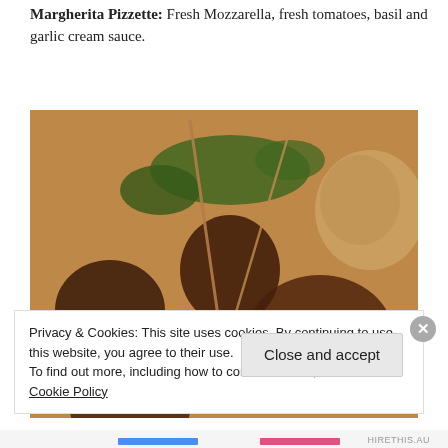Margherita Pizzette: Fresh Mozzarella, fresh tomatoes, basil and garlic cream sauce.
[Figure (photo): Close-up photo of grilled meat skewers with caramelized onions, fresh herbs, and a creamy sauce on a plate.]
Privacy & Cookies: This site uses cookies. By continuing to use this website, you agree to their use.
To find out more, including how to control cookies, see here: Cookie Policy
Close and accept